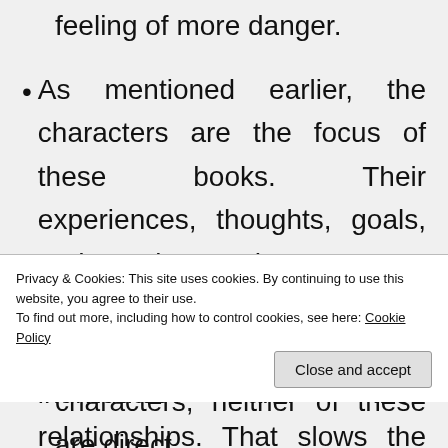feeling of more danger.
As mentioned earlier, the characters are the focus of these books. Their experiences, thoughts, goals, and reactions to the events are what I enjoyed. Sometimes, the focus is entirely on these individuals and their relationships. That slows the pacing, but it deeply enhances the impact of
characters, neither of these are direct
Privacy & Cookies: This site uses cookies. By continuing to use this website, you agree to their use.
To find out more, including how to control cookies, see here: Cookie Policy
Close and accept